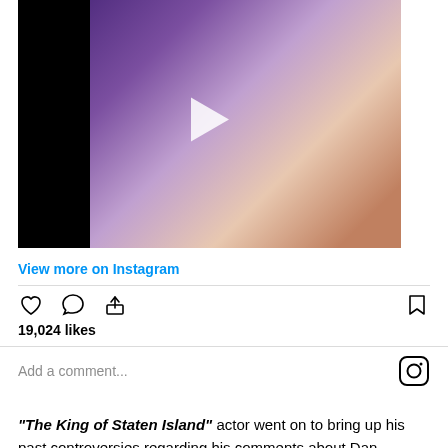[Figure (screenshot): Instagram video thumbnail showing a person wearing a white/silver ruffled sleeve and purple fabric, with a play button overlay and black border on the left side]
View more on Instagram
[Figure (infographic): Instagram action icons: heart (like), comment bubble, share (upload arrow), and bookmark icons. Below: 19,024 likes]
19,024 likes
Add a comment...
"The King of Staten Island" actor went on to bring up his past controversies regarding his comments about Dan Crenshaw. He